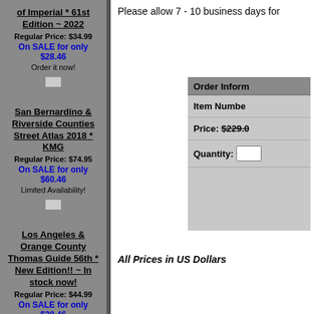of Imperial * 61st Edition ~ 2022
Regular Price: $34.99
On SALE for only $28.46
Order it now!
San Bernardino & Riverside Counties Street Atlas 2018 * KMG
Regular Price: $74.95
On SALE for only $60.46
Limited Availability!
Los Angeles & Orange County Thomas Guide 56th * New Edition!! ~ In stock now!
Regular Price: $44.99
On SALE for only $38.46
This is the 2022 Current Edition!
California North
Please allow 7 - 10 business days for
| Order Inform... |
| --- |
| Item Numbe... |
| Price: $229.0... |
| Quantity: |
All Prices in US Dollars